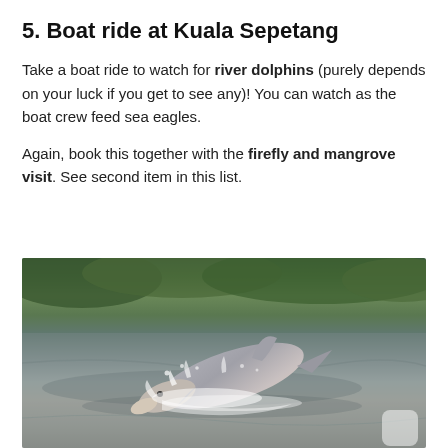5. Boat ride at Kuala Sepetang
Take a boat ride to watch for river dolphins (purely depends on your luck if you get to see any)! You can watch as the boat crew feed sea eagles.
Again, book this together with the firefly and mangrove visit. See second item in this list.
[Figure (photo): A river dolphin (Irrawaddy or similar) leaping/surfacing from murky brownish-green river water, creating splashes, with green vegetation visible in the background.]